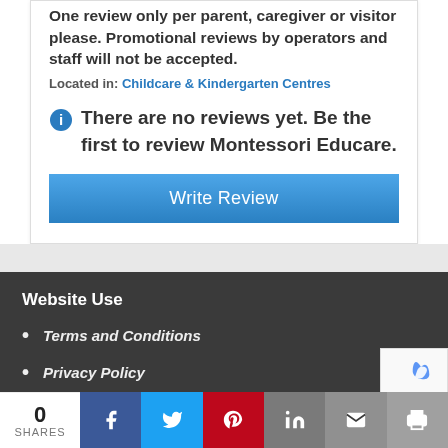One review only per parent, caregiver or visitor please. Promotional reviews by operators and staff will not be accepted.
Located in: Childcare & Kindergarten Centres
There are no reviews yet. Be the first to review Montessori Educare.
Write Review
Website Use
Terms and Conditions
Privacy Policy
0 SHARES | Facebook | Twitter | Pinterest | LinkedIn | Email | Print